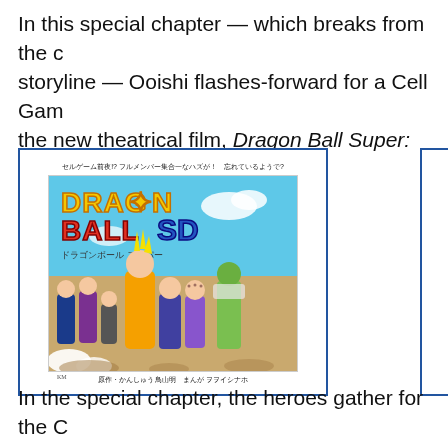In this special chapter — which breaks from the core storyline — Ooishi flashes-forward for a Cell Game the new theatrical film, Dragon Ball Super: Super He
[Figure (illustration): Dragon Ball SD manga volume cover inside a blue-bordered frame. Top caption in Japanese. Cover shows the Dragon Ball SD logo with chibi-style characters including Super Saiyan Gohan, Piccolo, Vegeta, Trunks, Krillin, and others gathered together. Bottom caption in Japanese with author credits.]
In the special chapter, the heroes gather for the C